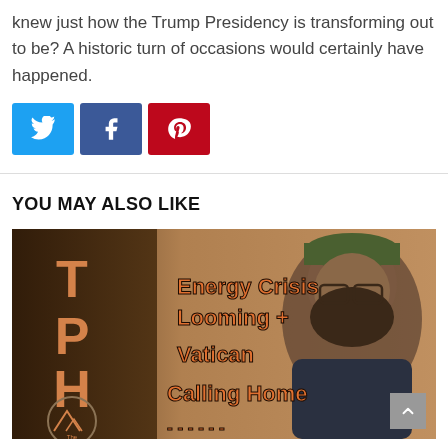knew just how the Trump Presidency is transforming out to be? A historic turn of occasions would certainly have happened.
[Figure (infographic): Social sharing buttons: Twitter (blue), Facebook (dark blue), Pinterest (red)]
YOU MAY ALSO LIKE
[Figure (photo): Thumbnail image showing a man with a beard and green baseball cap, with text overlay reading 'Energy Crisis Looming + Vatican Calling Home' and TPH logo/branding with 'THE PREPARED' text at bottom left.]